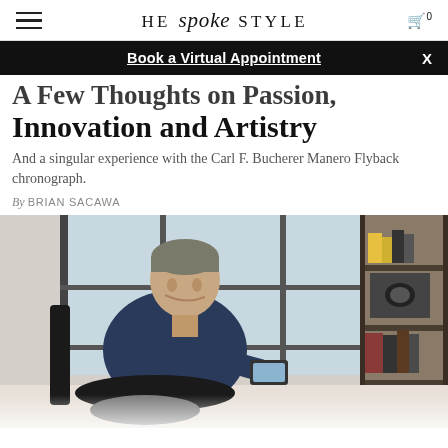HE spoke STYLE — cart 0
Book a Virtual Appointment  X
A Few Thoughts on Passion, Innovation and Artistry
And a singular experience with the Carl F. Bucherer Manero Flyback chronograph.
By BRIAN SACAWA
[Figure (photo): A man in a dark navy sweater sits in a black leather chair in an industrial-style loft office, reading something on a tablet or phone. Behind him is a large window and a metal shelving unit with books and a vintage camera.]